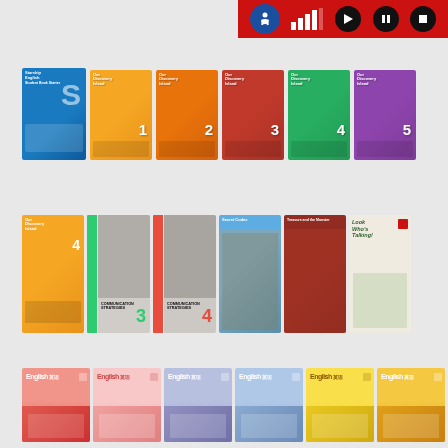[Figure (screenshot): Media player control bar with accessibility icon, signal bars, play, pause, and stop buttons on red background]
[Figure (photo): Row of 6 English language learning textbook covers: Starship English S, Our Discovery Island 1-5]
[Figure (photo): Row of 7 English learning book covers: Our Discovery Island 4, Communication Strategies 3 & 4, Secret Codex, Treasure and the Monster, Look Who's Talking!]
[Figure (photo): Row of 6 English 英语 textbook covers in pink, light pink, light purple, light blue, yellow, and gold colors]